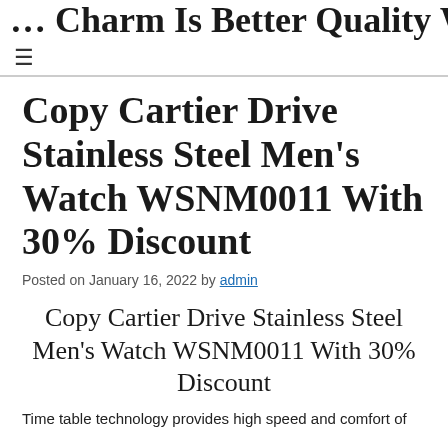…Charm Is Better Quality Wat…
Copy Cartier Drive Stainless Steel Men's Watch WSNM0011 With 30% Discount
Posted on January 16, 2022 by admin
Copy Cartier Drive Stainless Steel Men's Watch WSNM0011 With 30% Discount
Time table technology provides high speed and comfort of